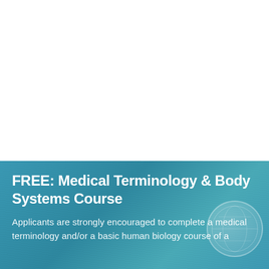[Figure (photo): White/blank upper section of the page, top portion of a layout with a person's head (blue-tinted hair visible) in the lower portion]
FREE: Medical Terminology & Body Systems Course
Applicants are strongly encouraged to complete a medical terminology and/or a basic human biology course of a